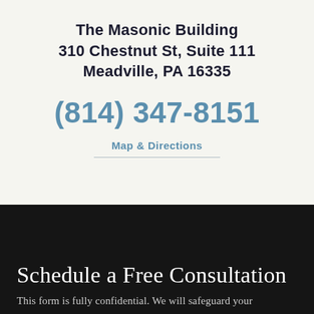The Masonic Building
310 Chestnut St, Suite 111
Meadville, PA 16335
(814) 347-8151
Map & Directions
Schedule a Free Consultation
This form is fully confidential. We will safeguard your